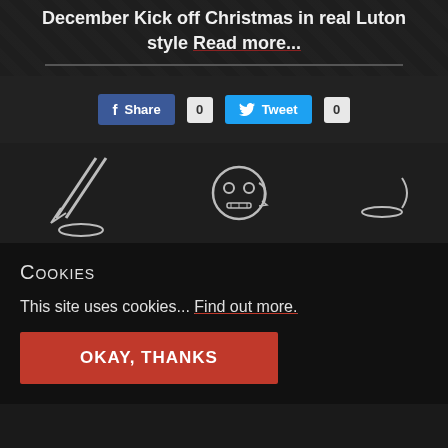December Kick off Christmas in real Luton style Read more...
[Figure (screenshot): Social share buttons: Facebook Share with count 0, Twitter Tweet with count 0]
[Figure (illustration): Dark background with stylized white line art graphics including leaf/arrow shapes and a robot/skull face icon]
Cookies
This site uses cookies... Find out more.
OKAY, THANKS